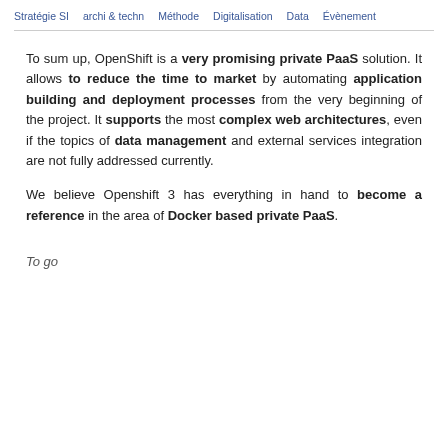Stratégie SI   archi & techn   Méthode   Digitalisation   Data   Évènement
To sum up, OpenShift is a very promising private PaaS solution. It allows to reduce the time to market by automating application building and deployment processes from the very beginning of the project. It supports the most complex web architectures, even if the topics of data management and external services integration are not fully addressed currently.
We believe Openshift 3 has everything in hand to become a reference in the area of Docker based private PaaS.
To go